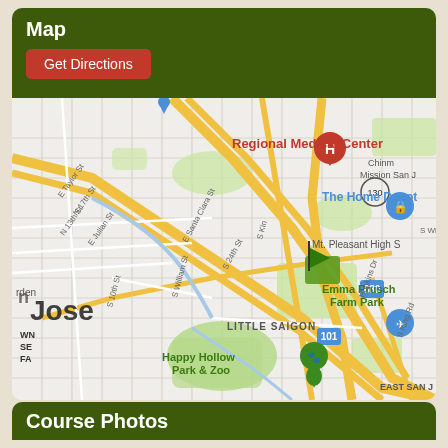Map
Get Directions
[Figure (map): Google Maps view of San Jose, CA area showing Regional Medical Center, The Home Depot, Emma Prusch Farm Park, Happy Hollow Park & Zoo, Little Saigon neighborhood, Mt. Pleasant High School, and surrounding streets including E Santa Clara St, E Julian St, S 24th St, S King Rd, Hopkins Dr. Major roads shown in yellow. Route 680 and 101 visible.]
Course Photos